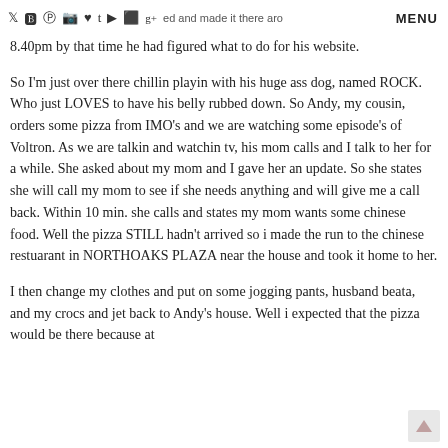MENU
8.40pm by that time he had figured what to do for his website.
So I'm just over there chillin playin with his huge ass dog, named ROCK. Who just LOVES to have his belly rubbed down. So Andy, my cousin, orders some pizza from IMO's and we are watching some episode's of Voltron. As we are talkin and watchin tv, his mom calls and I talk to her for a while. She asked about my mom and I gave her an update. So she states she will call my mom to see if she needs anything and will give me a call back. Within 10 min. she calls and states my mom wants some chinese food. Well the pizza STILL hadn't arrived so i made the run to the chinese restuarant in NORTHOAKS PLAZA near the house and took it home to her.
I then change my clothes and put on some jogging pants, husband beata, and my crocs and jet back to Andy's house. Well i expected that the pizza would be there because at